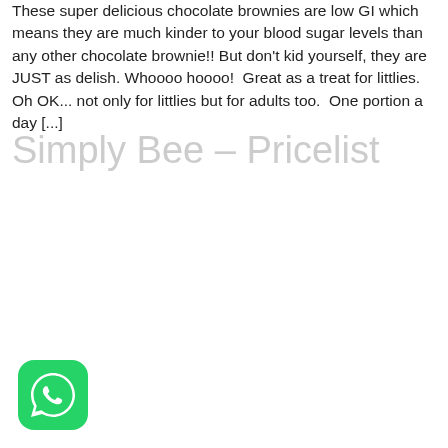These super delicious chocolate brownies are low GI which means they are much kinder to your blood sugar levels than any other chocolate brownie!! But don't kid yourself, they are JUST as delish. Whoooo hoooo!  Great as a treat for littlies.  Oh OK... not only for littlies but for adults too.  One portion a day [...]
Simply Bee – Pricelist
[Figure (logo): WhatsApp app icon — green rounded square with white phone/chat bubble symbol]